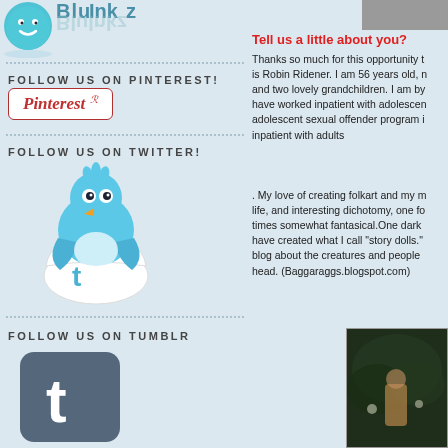[Figure (logo): BluInkz logo with blue smiley face circle and stylized text]
FOLLOW US ON PINTEREST!
[Figure (logo): Pinterest logo button with italic 'Pinterest' text in red on white background with red border]
FOLLOW US ON TWITTER!
[Figure (illustration): Twitter blue bird hatching from an egg with Twitter 't' logo on the egg]
FOLLOW US ON TUMBLR
[Figure (logo): Tumblr logo: white 't' on dark rounded square background]
[Figure (photo): Small photo thumbnail at top right corner]
Tell us a little about you?
Thanks so much for this opportunity t is Robin Ridener. I am 56 years old, n and two lovely grandchildren. I am by have worked inpatient with adolescen adolescent sexual offender program i inpatient with adults
. My love of creating folkart and my n life, and interesting dichotomy, one fo times somewhat fantasical.One dark have created what I call "story dolls." blog about the creatures and people head. (Baggaraggs.blogspot.com)
[Figure (photo): Dark photo of a figure or creature in a garden/outdoor setting]